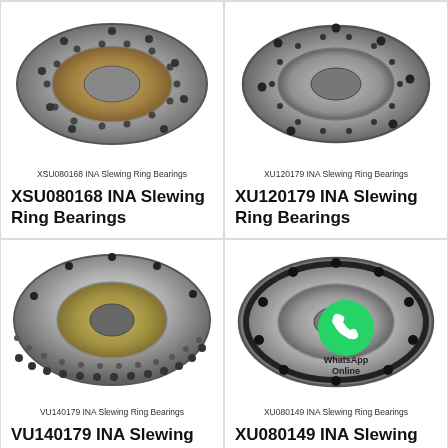[Figure (photo): XSU080168 INA Slewing Ring Bearing - top partial view of ring bearing]
XSU080168 INA Slewing Ring Bearings
XSU080168 INA Slewing Ring Bearings
[Figure (photo): XU120179 INA Slewing Ring Bearing - top partial view of ring bearing]
XU120179 INA Slewing Ring Bearings
XU120179 INA Slewing Ring Bearings
[Figure (photo): VU140179 INA Slewing Ring Bearing - full ring bearing with ball race]
VU140179 INA Slewing Ring Bearings
VU140179 INA Slewing Ring Bearings
[Figure (photo): XU080149 INA Slewing Ring Bearing - compact disc bearing with WhatsApp Online watermark]
XU080149 INA Slewing Ring Bearings
XU080149 INA Slewing Ring Bearings
All Products
Contact Now